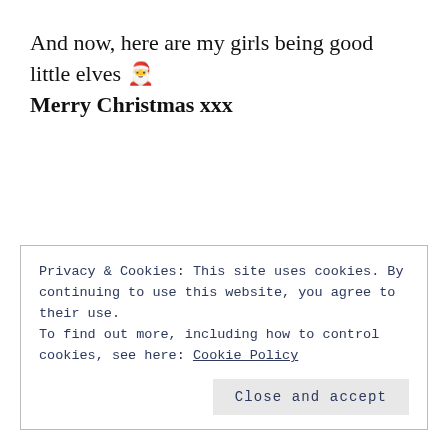And now, here are my girls being good little elves 🎄
Merry Christmas xxx
Privacy & Cookies: This site uses cookies. By continuing to use this website, you agree to their use.
To find out more, including how to control cookies, see here: Cookie Policy
Close and accept